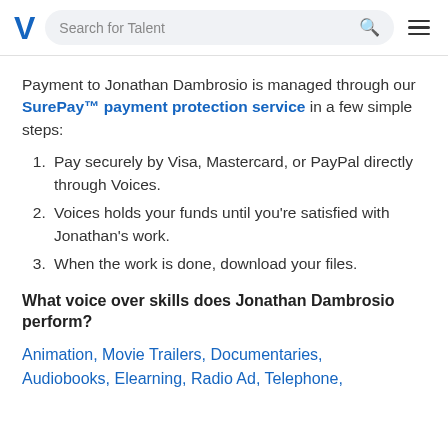Search for Talent
Payment to Jonathan Dambrosio is managed through our SurePay™ payment protection service in a few simple steps:
Pay securely by Visa, Mastercard, or PayPal directly through Voices.
Voices holds your funds until you're satisfied with Jonathan's work.
When the work is done, download your files.
What voice over skills does Jonathan Dambrosio perform?
Animation, Movie Trailers, Documentaries, Audiobooks, Elearning, Radio Ad, Telephone,